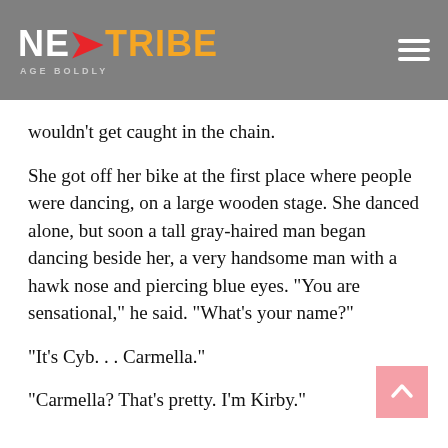NEXTTRIBE AGE BOLDLY
wouldn’t get caught in the chain.
She got off her bike at the first place where people were dancing, on a large wooden stage. She danced alone, but soon a tall gray-haired man began dancing beside her, a very handsome man with a hawk nose and piercing blue eyes. “You are sensational,” he said. “What’s your name?”
“It’s Cyb. . . Carmella.”
“Carmella? That’s pretty. I’m Kirby.”